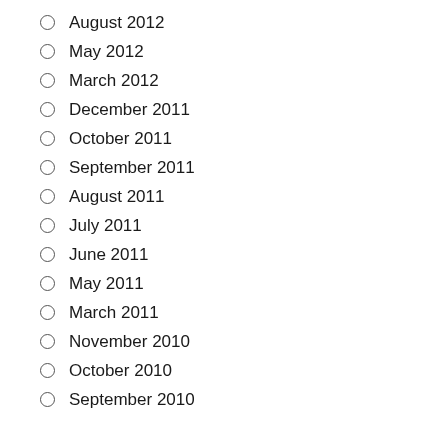August 2012
May 2012
March 2012
December 2011
October 2011
September 2011
August 2011
July 2011
June 2011
May 2011
March 2011
November 2010
October 2010
September 2010